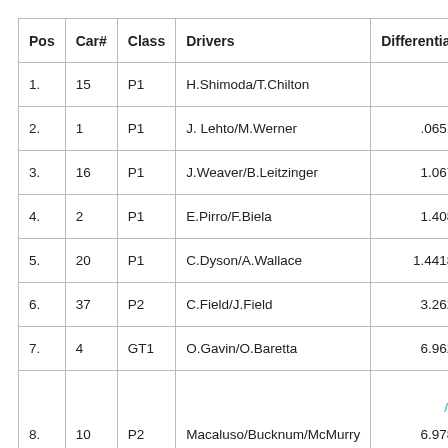| Pos | Car# | Class | Drivers | Differential |
| --- | --- | --- | --- | --- |
| 1. | 15 | P1 | H.Shimoda/T.Chilton |  |
| 2. | 1 | P1 | J. Lehto/M.Werner | .0651 |
| 3. | 16 | P1 | J.Weaver/B.Leitzinger | 1.067 |
| 4. | 2 | P1 | E.Pirro/F.Biela | 1.408 |
| 5. | 20 | P1 | C.Dyson/A.Wallace | 1.4418 |
| 6. | 37 | P2 | C.Field/J.Field | 3.262 |
| 7. | 4 | GT1 | O.Gavin/O.Baretta | 6.962 |
| 8. | 10 | P2 | Macaluso/Bucknum/McMurry | 6.978 |